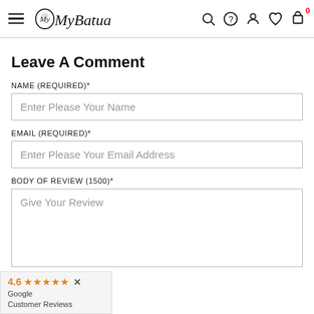MyBatua — navigation header with hamburger menu and icons (search, help, account, wishlist, cart with badge 0)
Leave A Comment
NAME (required)*
Enter Please Your Name
EMAIL (required)*
Enter Please Your Email Address
BODY OF REVIEW (1500)*
Give Your Review
[Figure (other): Google Customer Reviews badge showing 4.6 rating with 5 orange stars and a close (x) button]